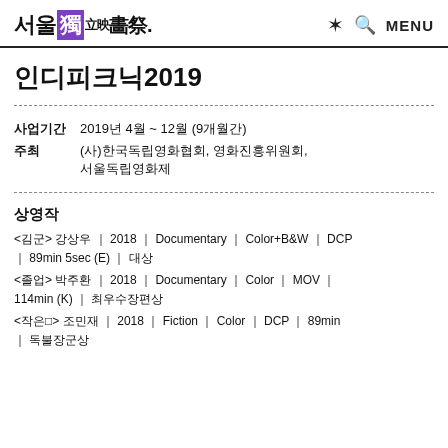서울獨立映畵祭. ☀ Q MENU
인디피크닉2019
사업기간  2019년 4월 ~ 12월 (9개월간)
주최  (사)한국독립영화협회, 영화진흥위원회, 서울독립영화제
상영작
<김군> 강상우 ｜ 2018 ｜ Documentary ｜ Color+B&W ｜ DCP ｜ 89min 5sec (E) ｜ 대상
<졸업> 박주환 ｜ 2018 ｜ Documentary ｜ Color ｜ MOV ｜ 114min (K) ｜ 최우수장편상
<작은⬜> 조민재 ｜ 2018 ｜ Fiction ｜ Color ｜ DCP ｜ 89min ｜ 독불장군상